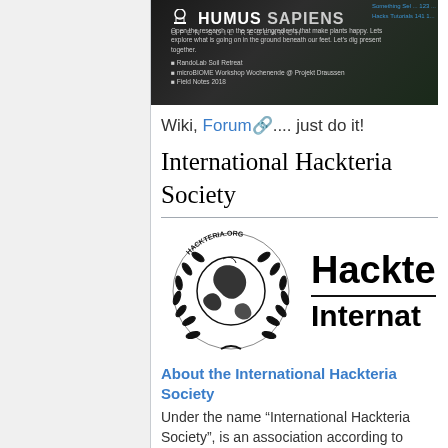[Figure (photo): Dark background image with Humus Sapiens logo (open soil research) and some text about soil research events]
Wiki, Forum.... just do it!
International Hackteria Society
[Figure (logo): Hackteria International Society logo — circular emblem with world map and laurel wreath, beside bold text reading Hackte... / Internat...]
About the International Hackteria Society
Under the name "International Hackteria Society", is an association according to article 60ff of the Swiss Civil Code (ZGB) with seat in Zürich. The association is